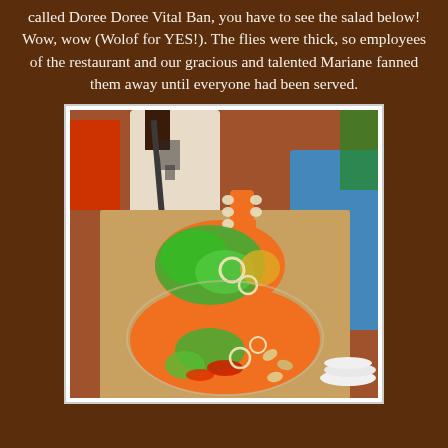called Doree Doree Vital Ban, you have to see the salad below! Wow, wow (Wolof for YES!). The flies were thick, so employees of the restaurant and our gracious and talented Mariane fanned them away until everyone had been served.
[Figure (photo): A large salad shaped like a guitar, made with grated carrots forming the outline, topped with green lettuce, sliced onions, vegetables, cashews, and red peppers. Two people are visible standing behind the dish.]